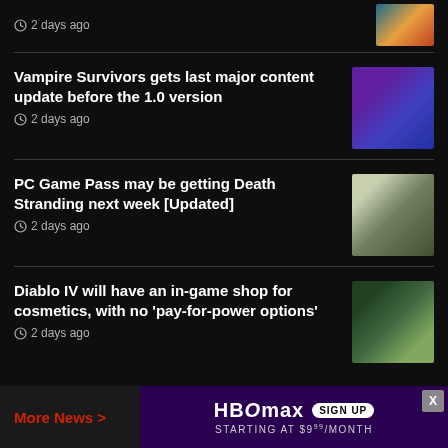2 days ago
[Figure (photo): Food/colorful dish thumbnail]
Vampire Survivors gets last major content update before the 1.0 version
2 days ago
[Figure (photo): Purple/blue fantasy character thumbnail]
PC Game Pass may be getting Death Stranding next week [Updated]
2 days ago
[Figure (photo): Death Stranding landscape thumbnail]
Diablo IV will have an in-game shop for cosmetics, with no 'pay-for-power options'
2 days ago
[Figure (photo): Diablo IV green armored character thumbnail]
More News >
[Figure (other): HBO Max advertisement: SIGN UP STARTING AT $9.99/MONTH]